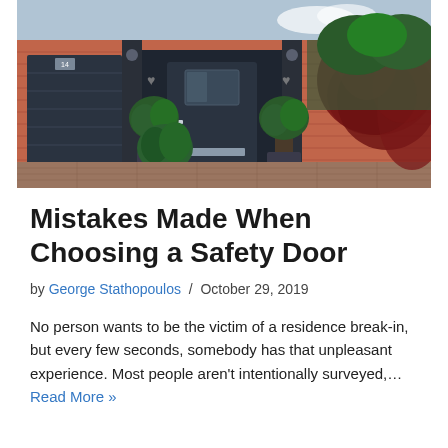[Figure (photo): Photo of a house exterior with a dark navy composite front door, brick facade, topiary plants, a garage door on the left, and red Japanese maple foliage on the right. Brick paved driveway in foreground.]
Mistakes Made When Choosing a Safety Door
by George Stathopoulos / October 29, 2019
No person wants to be the victim of a residence break-in, but every few seconds, somebody has that unpleasant experience. Most people aren't intentionally surveyed,… Read More »